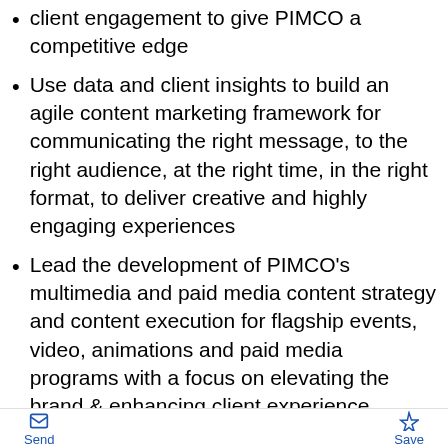client engagement to give PIMCO a competitive edge
Use data and client insights to build an agile content marketing framework for communicating the right message, to the right audience, at the right time, in the right format, to deliver creative and highly engaging experiences
Lead the development of PIMCO's multimedia and paid media content strategy and content execution for flagship events, video, animations and paid media programs with a focus on elevating the brand & enhancing client experience
Partner with country marketing heads and their teams to ensure optimization of global branded content across a variety of channels including
Send  Save